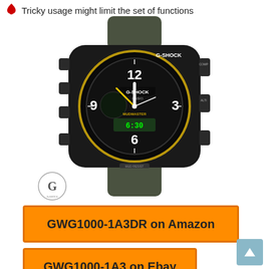Tricky usage might limit the set of functions
[Figure (photo): Casio G-SHOCK GWG1000 Mudmaster watch with black body and olive green strap, showing analog-digital face with G-SHOCK and CASIO branding]
[Figure (logo): G-SHOCK brand logo — circular emblem with stylized G]
GWG1000-1A3DR on Amazon
GWG1000-1A3 on Ebay